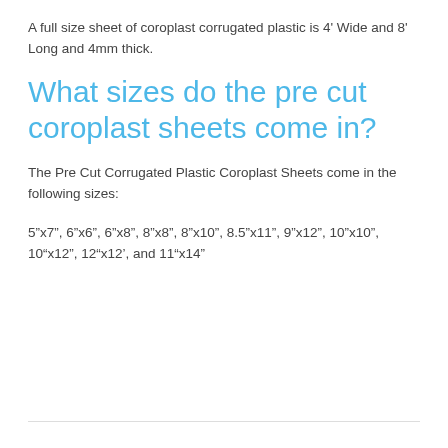A full size sheet of coroplast corrugated plastic is 4' Wide and 8' Long and 4mm thick.
What sizes do the pre cut coroplast sheets come in?
The Pre Cut Corrugated Plastic Coroplast Sheets come in the following sizes:
5"x7", 6"x6", 6"x8", 8"x8", 8"x10", 8.5"x11", 9"x12", 10"x10", 10"x12", 12"x12', and 11"x14"